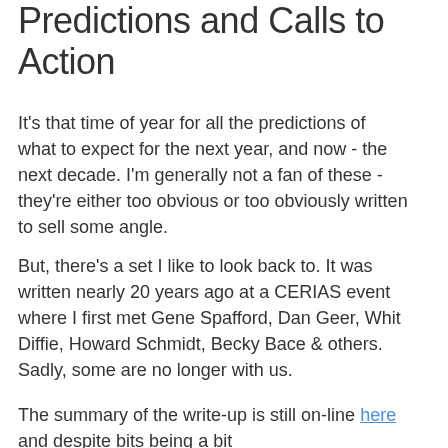Predictions and Calls to Action
It's that time of year for all the predictions of what to expect for the next year, and now - the next decade. I'm generally not a fan of these - they're either too obvious or too obviously written to sell some angle.
But, there's a set I like to look back to. It was written nearly 20 years ago at a CERIAS event where I first met Gene Spafford, Dan Geer, Whit Diffie, Howard Schmidt, Becky Bace & others. Sadly, some are no longer with us.
The summary of the write-up is still on-line here and despite bits being a bit